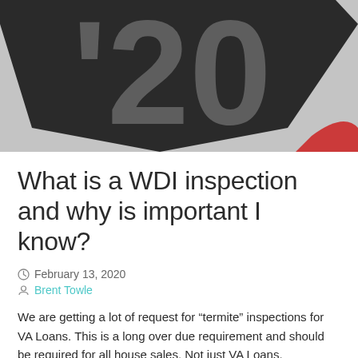[Figure (photo): Partial view of a circular badge or sign with '20 on a dark background, cropped at top of page]
What is a WDI inspection and why is important I know?
February 13, 2020
Brent Towle
We are getting a lot of request for “termite” inspections for VA Loans. This is a long over due requirement and should be required for all house sales. Not just VA Loans.